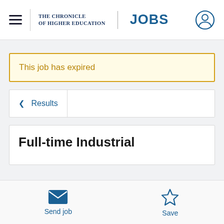THE CHRONICLE OF HIGHER EDUCATION | JOBS
This job has expired
< Results
Full-time Industrial
Send job
Save